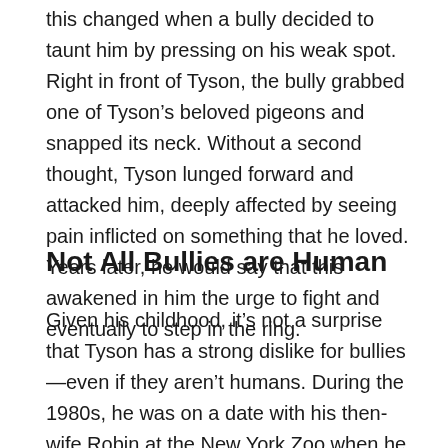this changed when a bully decided to taunt him by pressing on his weak spot. Right in front of Tyson, the bully grabbed one of Tyson's beloved pigeons and snapped its neck. Without a second thought, Tyson lunged forward and attacked him, deeply affected by seeing pain inflicted on something that he loved. Years later, he would say that this awakened in him the urge to fight and eventually to step in the ring.
Not All Bullies are Human
Given his childhood, it's not a surprise that Tyson has a strong dislike for bullies—even if they aren't humans. During the 1980s, he was on a date with his then-wife Robin at the New York Zoo when he noticed a silverback gorilla. Even compared to other gorillas,